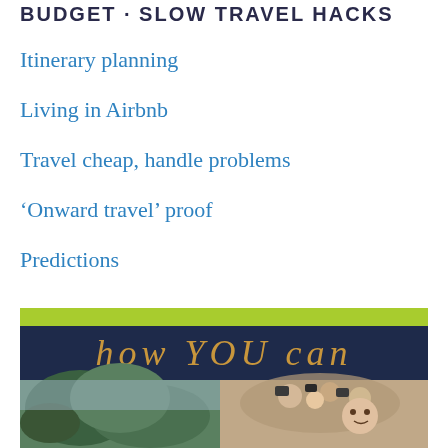BUDGET · SLOW TRAVEL HACKS
Itinerary planning
Living in Airbnb
Travel cheap, handle problems
'Onward travel' proof
Predictions
[Figure (illustration): Book cover image showing 'how YOU can' text on a dark navy banner with green accent bar, and two photos below: landscape with hills and a crowd scene with a person smiling]